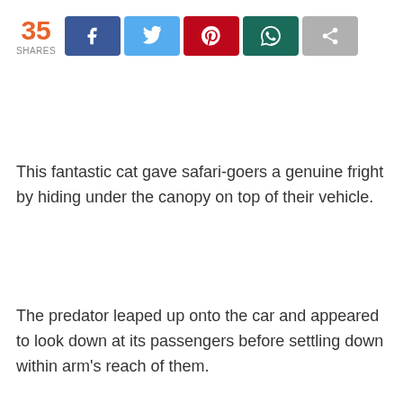[Figure (infographic): Social share bar showing 35 shares with buttons for Facebook, Twitter, Pinterest, WhatsApp, and a generic share button]
This fantastic cat gave safari-goers a genuine fright by hiding under the canopy on top of their vehicle.
The predator leaped up onto the car and appeared to look down at its passengers before settling down within arm's reach of them.
The cheetah was unconcerned about sitting so close to humans, relaxing in the sun for nearly an hour.